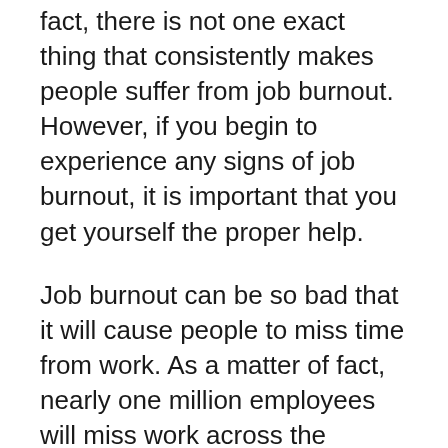fact, there is not one exact thing that consistently makes people suffer from job burnout. However, if you begin to experience any signs of job burnout, it is important that you get yourself the proper help.
Job burnout can be so bad that it will cause people to miss time from work. As a matter of fact, nearly one million employees will miss work across the United States just because of workplace anger and workplace stress. A survey was once conducted amongst workers and two-thirds of all respondents stated that their job has a great level of impact on their personal lives.
It is important to pay attention to your mental health. If you feel worn out or worry that you suffer from job burnout, make sure you do what it takes to feel better!